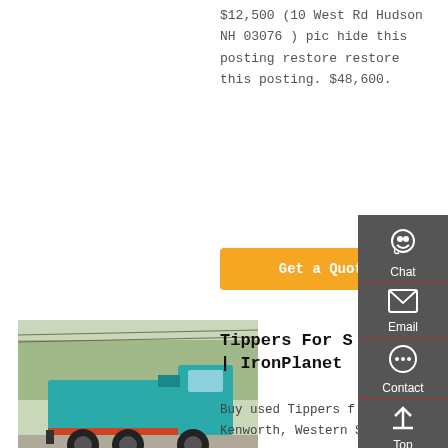$12,500 (10 West Rd Hudson NH 03076 ) pic hide this posting restore restore this posting. $48,600.
Get a Quote
[Figure (photo): Teal/green dump truck (tipper) parked on a road, side/rear view, with overhead power lines and trees in background]
Tippers For S | IronPlanet
Buy used Tippers f Kenworth, Western Sta Cat, Peterbilt, Freightliner, Isuzu and more. Buy with